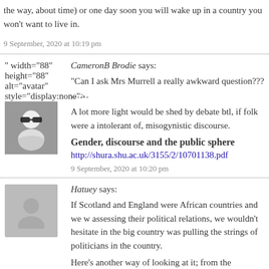the way, about time) or one day soon you will wake up in a country you won't want to live in.
9 September, 2020 at 10:19 pm
CameronB Brodie says:
“Can I ask Mrs Murrell a really awkward question??? ……
A lot more light would be shed by debate btl, if folk were a intolerant of, misogynistic discourse.
Gender, discourse and the public sphere
http://shura.shu.ac.uk/3155/2/10701138.pdf
9 September, 2020 at 10:20 pm
Hatuey says:
If Scotland and England were African countries and we w assessing their political relations, we wouldn't hesitate in the big country was pulling the strings of politicians in the country.
Here's another way of looking at it; from the perspective o State, Sturgeon is playing a blinder for them. She rabble in line, effectively blocking progress in a direction